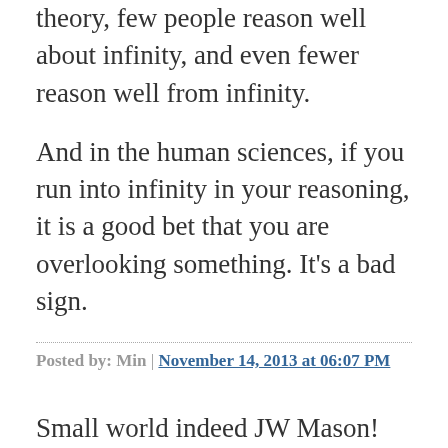theory, few people reason well about infinity, and even fewer reason well from infinity.
And in the human sciences, if you run into infinity in your reasoning, it is a good bet that you are overlooking something. It's a bad sign.
Posted by: Min | November 14, 2013 at 06:07 PM
Small world indeed JW Mason! Interesting points though- will have to think more about them. Meanwhile, a couple of points that quickly come to mind:
1. Leijonhufvud's argument